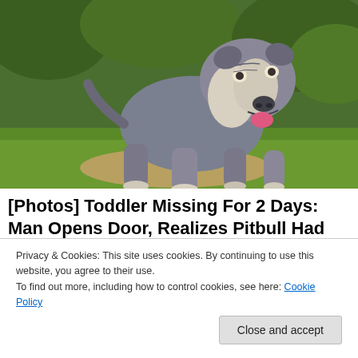[Figure (photo): A muscular pitbull dog standing on grass, looking toward the camera with mouth open and tongue out. The dog has a grey and white coat. Green grass and trees in the background.]
[Photos] Toddler Missing For 2 Days: Man Opens Door, Realizes Pitbull Had Her
Privacy & Cookies: This site uses cookies. By continuing to use this website, you agree to their use.
To find out more, including how to control cookies, see here: Cookie Policy